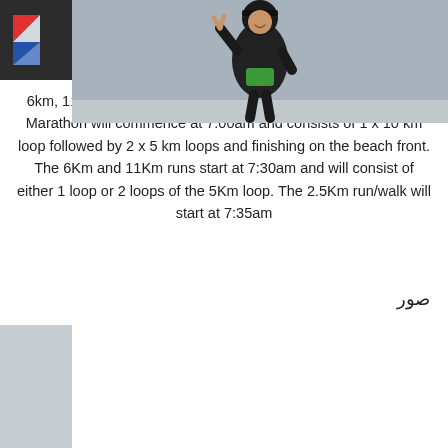0 - [cart] [menu]
6km, 11km of the Half Marathon distance of 21.1km. The Half Marathon will commence at 7:00am and consists of 1 x 10 km loop followed by 2 x 5 km loops and finishing on the beach front. The 6Km and 11Km runs start at 7:30am and will consist of either 1 loop or 2 loops of the 5Km loop. The 2.5Km run/walk will start at 7:35am
صور
[Figure (photo): A woman wearing a black hijab and black athletic outfit making a peace sign with both hands, smiling, photographed outdoors against a gray-blue sky background. She is wearing a green race bib.]